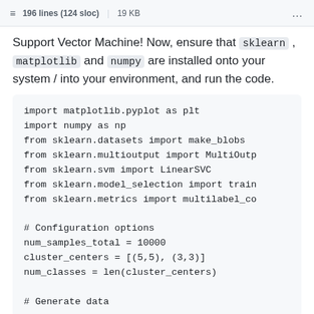196 lines (124 sloc) | 19 KB
Support Vector Machine! Now, ensure that sklearn, matplotlib and numpy are installed onto your system / into your environment, and run the code.
import matplotlib.pyplot as plt
import numpy as np
from sklearn.datasets import make_blobs
from sklearn.multioutput import MultiOutp
from sklearn.svm import LinearSVC
from sklearn.model_selection import train
from sklearn.metrics import multilabel_co

# Configuration options
num_samples_total = 10000
cluster_centers = [(5,5), (3,3)]
num_classes = len(cluster_centers)

# Generate data